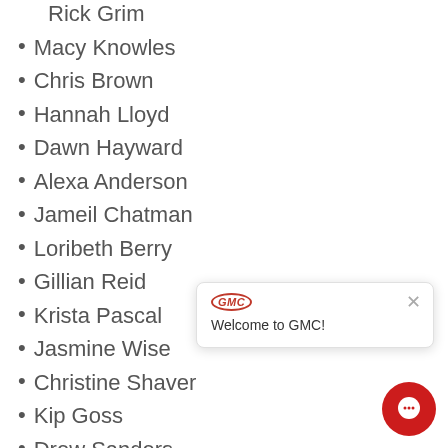Rick Grim
Macy Knowles
Chris Brown
Hannah Lloyd
Dawn Hayward
Alexa Anderson
Jameil Chatman
Loribeth Berry
Gillian Reid
Krista Pascal
Jasmine Wise
Christine Shaver
Kip Goss
Drew Sanders
Zach Guyton
Dustin Wallace
Sean Tighe.
[Figure (screenshot): GMC chat popup with logo and 'Welcome to GMC!' message, and red chat button in corner]